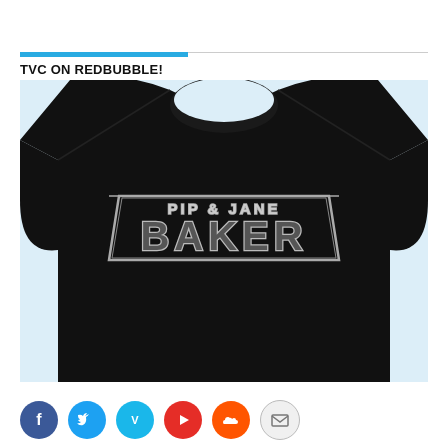TVC ON REDBUBBLE!
[Figure (photo): Person wearing a black t-shirt with 'Pip & Jane Baker' logo styled in Star Wars-inspired lettering]
[Figure (infographic): Row of social media icon circles: Facebook (blue), Twitter (cyan), Vimeo (light blue), YouTube (red), SoundCloud (orange), Email (gray)]